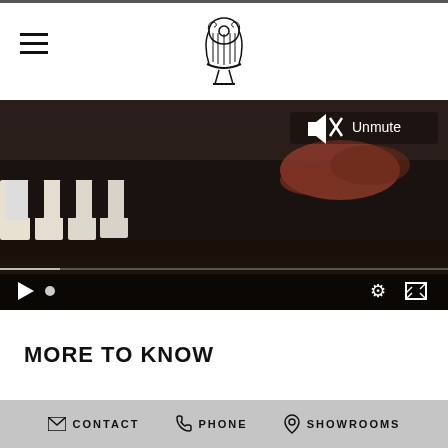[Figure (logo): Decorative lyre/harp logo for a music brand, centered in header]
[Figure (screenshot): Video player showing close-up of piano keys being played, with Unmute button visible in top right and playback controls at bottom (play button, progress dot, settings gear icon, fullscreen icon)]
MORE TO KNOW
CONTACT   PHONE   SHOWROOMS